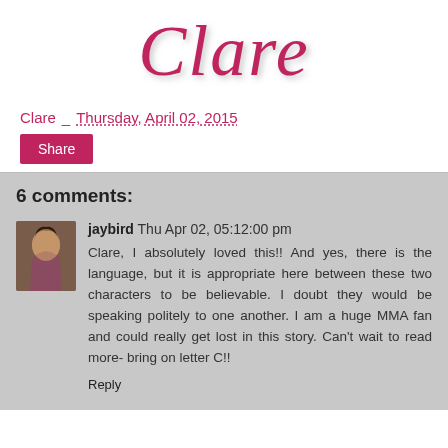Clare
Clare _ Thursday, April 02, 2015
Share
6 comments:
jaybird Thu Apr 02, 05:12:00 pm
Clare, I absolutely loved this!! And yes, there is the language, but it is appropriate here between these two characters to be believable. I doubt they would be speaking politely to one another. I am a huge MMA fan and could really get lost in this story. Can't wait to read more- bring on letter C!!
Reply